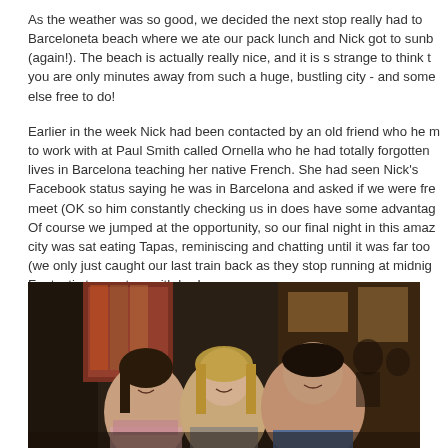As the weather was so good, we decided the next stop really had to Barceloneta beach where we ate our pack lunch and Nick got to sunb (again!). The beach is actually really nice, and it is s strange to think t you are only minutes away from such a huge, bustling city - and some else free to do!
Earlier in the week Nick had been contacted by an old friend who he to work with at Paul Smith called Ornella who he had totally forgotten lives in Barcelona teaching her native French. She had seen Nick's Facebook status saying he was in Barcelona and asked if we were fre meet (OK so him constantly checking us in does have some advantag Of course we jumped at the opportunity, so our final night in this ama city was sat eating Tapas, reminiscing and chatting until it was far too (we only just caught our last train back as they stop running at midnig Fantastic to meet up with her!
[Figure (photo): Three people (two women and one man) smiling for a photo at what appears to be a restaurant or bar setting at night. The background shows warm lighting, stained glass or decorative windows, and other patrons.]